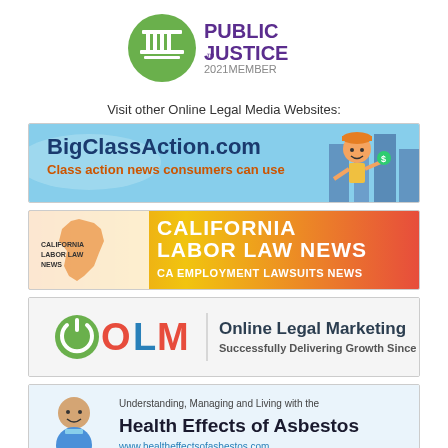[Figure (logo): Public Justice 2021 Member logo with green circular emblem and text]
Visit other Online Legal Media Websites:
[Figure (illustration): BigClassAction.com banner — Class action news consumers can use, with cartoon character holding money]
[Figure (illustration): California Labor Law News banner — CA Employment Lawsuits News]
[Figure (illustration): OLM Online Legal Marketing banner — Successfully Delivering Growth Since 2001]
[Figure (illustration): Health Effects of Asbestos banner — Understanding, Managing and Living with the Health Effects of Asbestos, www.healtheffectsofasbestos.com]